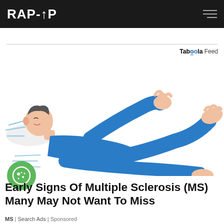RAP-UP
Taboola Feed
[Figure (illustration): Illustration of a person in a blue outfit lying on their back with arms and legs raised or tensed, depicting symptoms of multiple sclerosis]
Early Signs Of Multiple Sclerosis (MS) Many May Not Want To Miss
MS | Search Ads | Sponsored